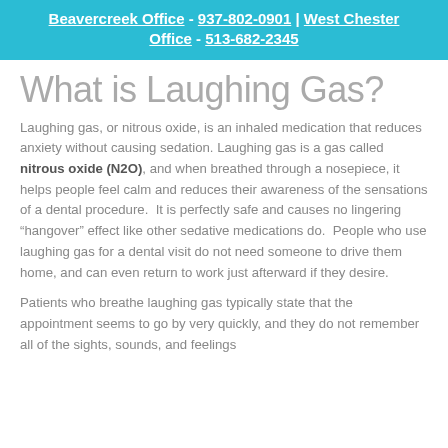Beavercreek Office - 937-802-0901 | West Chester Office - 513-682-2345
What is Laughing Gas?
Laughing gas, or nitrous oxide, is an inhaled medication that reduces anxiety without causing sedation. Laughing gas is a gas called nitrous oxide (N2O), and when breathed through a nosepiece, it helps people feel calm and reduces their awareness of the sensations of a dental procedure. It is perfectly safe and causes no lingering “hangover” effect like other sedative medications do. People who use laughing gas for a dental visit do not need someone to drive them home, and can even return to work just afterward if they desire.
Patients who breathe laughing gas typically state that the appointment seems to go by very quickly, and they do not remember all of the sights, sounds, and feelings